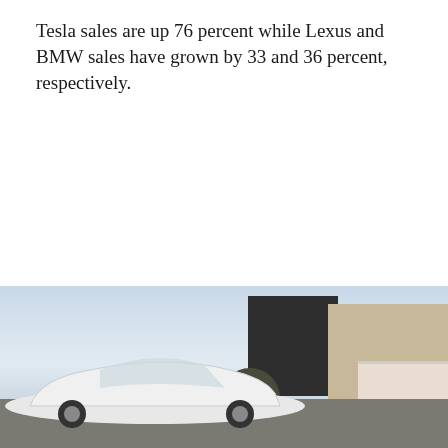Tesla sales are up 76 percent while Lexus and BMW sales have grown by 33 and 36 percent, respectively.
[Figure (photo): Outdoor photograph showing a white car (likely a Tesla) parked in front of residential buildings. The scene includes a dark-colored house/building in the center-background, a lighter building on the right with white stairs/railing, trees, and a partly cloudy sky.]